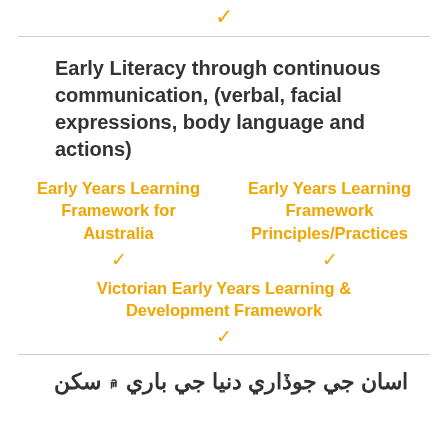✓
Early Literacy through continuous communication, (verbal, facial expressions, body language and actions)
Early Years Learning Framework for Australia ✓
Early Years Learning Framework Principles/Practices ✓
Victorian Early Years Learning &amp; Development Framework ✓
اسان جي جوڏاري دنيا جي باري ۾ سکن